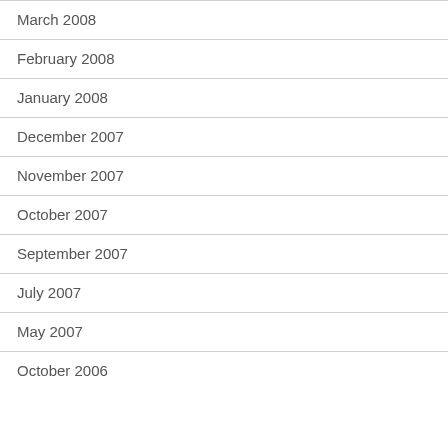March 2008
February 2008
January 2008
December 2007
November 2007
October 2007
September 2007
July 2007
May 2007
October 2006